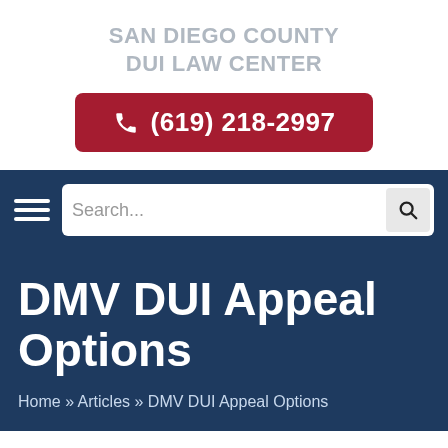SAN DIEGO COUNTY DUI LAW CENTER
(619) 218-2997
Search...
DMV DUI Appeal Options
Home » Articles » DMV DUI Appeal Options